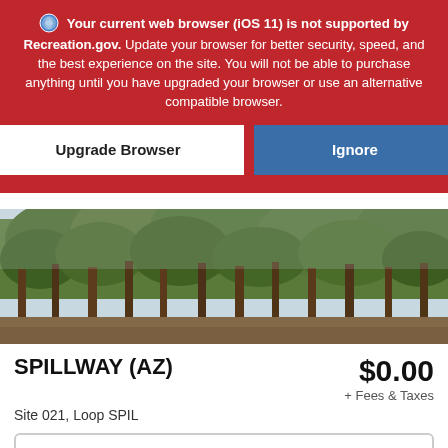Your current web browser (iOS 11) is not supported by Recreation.gov. Update your browser for better security, speed, and the best experience on the site. You will not be able to purchase anything until you have upgraded your browser or use an alternative compatible browser.
[Figure (screenshot): Two buttons: 'Upgrade Browser' (white background) and 'Ignore' (blue background) on red banner]
[Figure (photo): Photograph of tall pine/ponderosa trees in a forest with light sky visible through canopy]
SPILLWAY (AZ)
$0.00
Site 021, Loop SPIL
+ Fees & Taxes
Enter Dates